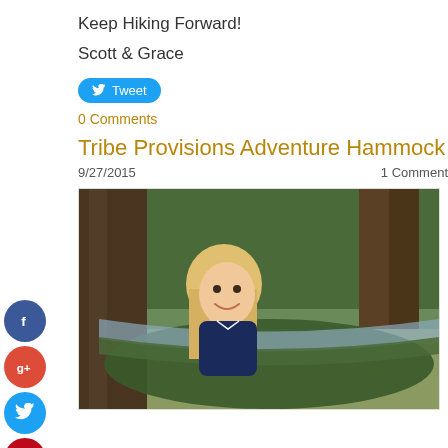Keep Hiking Forward!
Scott & Grace
[Figure (other): Tweet button]
0 Comments
Tribe Provisions Adventure Hammock
9/27/2015    1 Comment
[Figure (photo): A young blonde girl smiling while sitting in a green and grey camping hammock strung between trees outdoors]